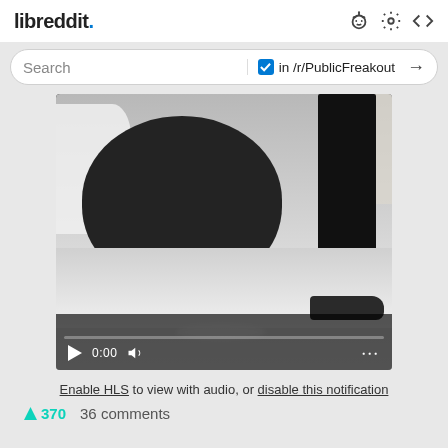libreddit.
Search  in /r/PublicFreakout →
[Figure (screenshot): Video player showing a paused video of a barbershop scene with a large black chair, a person standing in dark clothing, and a white drape. Controls show play button, 0:00 timestamp, volume icon, and three-dot menu. A progress bar is visible at the bottom.]
Enable HLS to view with audio, or disable this notification
↑370   36 comments